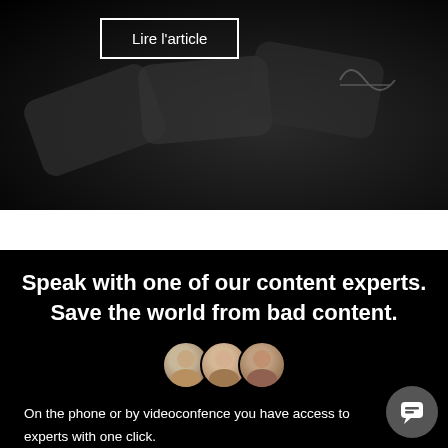[Figure (photo): Dark background image showing card-like objects with a 'Lire l'article' button overlay]
Lire l'article
Speak with one of our content experts. Save the world from bad content.
[Figure (photo): Three overlapping circular avatar photos of people]
On the phone or by videoconfence you have access to experts with one click.